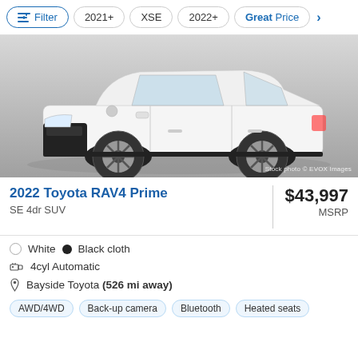Filter  2021+  XSE  2022+  Great Price
[Figure (photo): White 2022 Toyota RAV4 Prime SE SUV on a studio background, 3/4 front view. Stock photo © EVOX Images watermark.]
2022 Toyota RAV4 Prime
SE 4dr SUV
$43,997 MSRP
White  Black cloth
4cyl Automatic
Bayside Toyota (526 mi away)
AWD/4WD  Back-up camera  Bluetooth  Heated seats